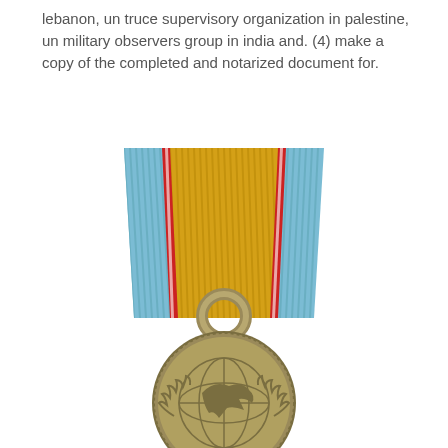lebanon, un truce supervisory organization in palestine, un military observers group in india and. (4) make a copy of the completed and notarized document for.
[Figure (photo): UN military medal with blue and gold ribbon featuring red white stripes, bronze medal pendant showing a dove over a globe with olive branches]